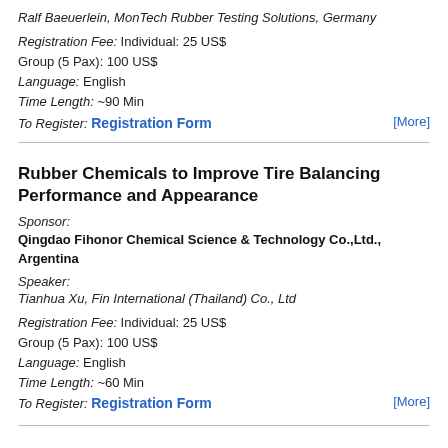Ralf Baeuerlein, MonTech Rubber Testing Solutions, Germany
Registration Fee: Individual: 25 US$
Group (5 Pax): 100 US$
Language: English
Time Length: ~90 Min
To Register: Registration Form
Rubber Chemicals to Improve Tire Balancing Performance and Appearance
Sponsor:
Qingdao Fihonor Chemical Science & Technology Co.,Ltd., Argentina
Speaker:
Tianhua Xu, Fin International (Thailand) Co., Ltd
Registration Fee: Individual: 25 US$
Group (5 Pax): 100 US$
Language: English
Time Length: ~60 Min
To Register: Registration Form